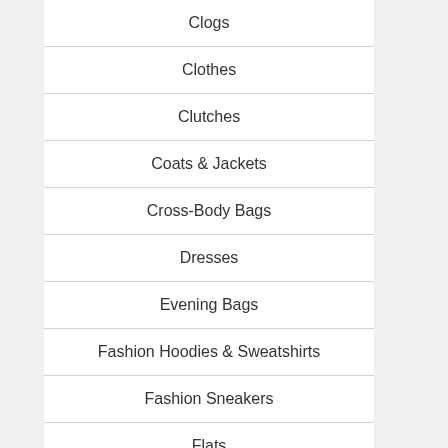Clogs
Clothes
Clutches
Coats & Jackets
Cross-Body Bags
Dresses
Evening Bags
Fashion Hoodies & Sweatshirts
Fashion Sneakers
Flats